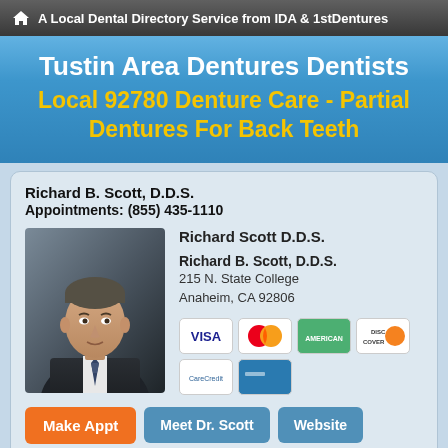A Local Dental Directory Service from IDA & 1stDentures
Tustin Area Dentures Dentists
Local 92780 Denture Care - Partial Dentures For Back Teeth
Richard B. Scott, D.D.S.
Appointments: (855) 435-1110
[Figure (photo): Professional portrait photo of Richard Scott D.D.S., a man in a dark suit with tie, against a dark background]
Richard Scott D.D.S.
Richard B. Scott, D.D.S.
215 N. State College
Anaheim, CA 92806
[Figure (other): Payment method icons: VISA, MasterCard, American Express, Discover, CareCredit, and another card]
Make Appt | Meet Dr. Scott | Website
more info ...